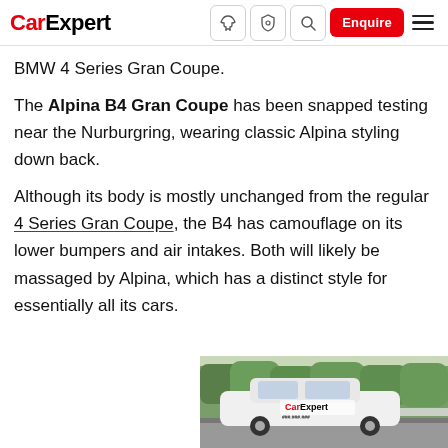CarExpert
BMW 4 Series Gran Coupe.
The Alpina B4 Gran Coupe has been snapped testing near the Nurburgring, wearing classic Alpina styling down back.
Although its body is mostly unchanged from the regular 4 Series Gran Coupe, the B4 has camouflage on its lower bumpers and air intakes. Both will likely be massaged by Alpina, which has a distinct style for essentially all its cars.
[Figure (photo): A white Alpina B4 Gran Coupe test car photographed near the Nurburgring with trees in the background. CarExpert watermark visible on the car door.]